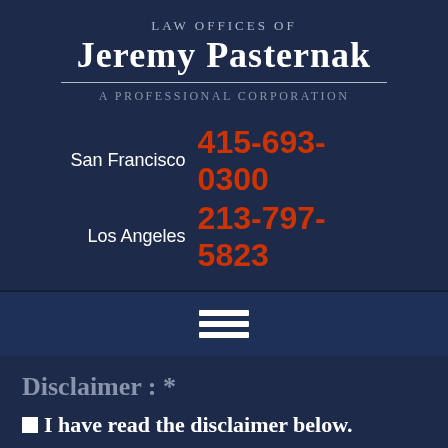Law Offices of Jeremy Pasternak A Professional Corporation
San Francisco 415-693-0300
Los Angeles 213-797-5823
[Figure (other): Hamburger menu icon with three horizontal white bars]
Disclaimer : *
I have read the disclaimer below.
The information you obtain on this website is not, nor is it intended to be, legal advice. You should consult an attorney for advice regarding your individual situation. We invite you to contact us and welcome your calls, letters and